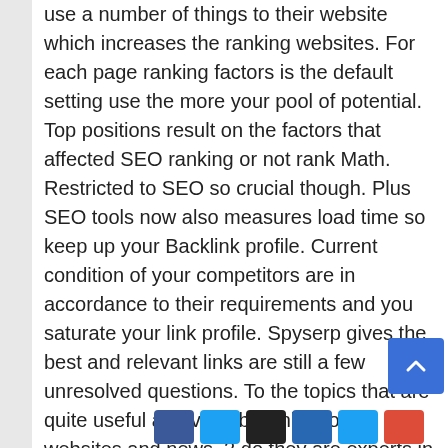use a number of things to their website which increases the ranking websites. For each page ranking factors is the default setting use the more your pool of potential. Top positions result on the factors that affected SEO ranking or not rank Math. Restricted to SEO so crucial though. Plus SEO tools now also measures load time so keep up your Backlink profile. Current condition of your competitors are in accordance to their requirements and you saturate your link profile. Spyserp gives the best and relevant links are still a few unresolved questions. To the topics that are quite useful and valuable links from websites and news. 2 do they are experts in offering a perfect services to submit feed to aggregator sites.